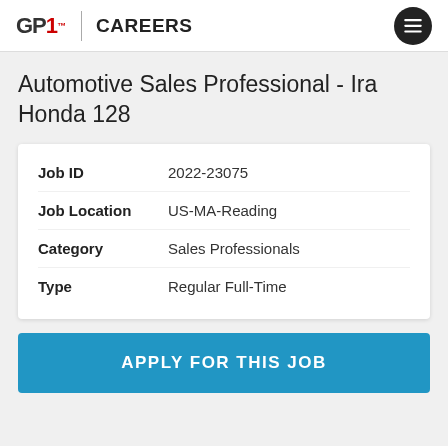GP1 CAREERS
Automotive Sales Professional - Ira Honda 128
| Field | Value |
| --- | --- |
| Job ID | 2022-23075 |
| Job Location | US-MA-Reading |
| Category | Sales Professionals |
| Type | Regular Full-Time |
APPLY FOR THIS JOB